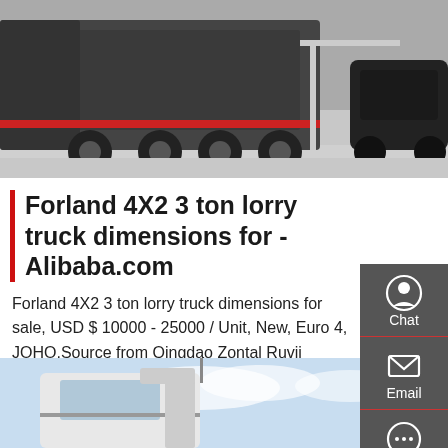[Figure (photo): Top photo showing large trucks (lorries) parked in a yard/facility, viewed from rear/side angle]
Forland 4X2 3 ton lorry truck dimensions for - Alibaba.com
Forland 4X2 3 ton lorry truck dimensions for sale, USD $ 10000 - 25000 / Unit, New, Euro 4, JOHO.Source from Qingdao Zontal Ruvii Vehicle Technology Co., Ltd. on Alibaba.com.
Get a Quote
[Figure (photo): Bottom photo showing truck cab/cabin in white and red colors against a partly cloudy sky background]